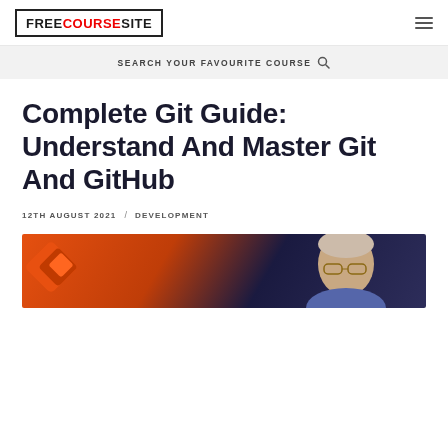FREECOURSESITE
SEARCH YOUR FAVOURITE COURSE
Complete Git Guide: Understand And Master Git And GitHub
12TH AUGUST 2021 / DEVELOPMENT
[Figure (photo): Photo of a person with glasses in front of orange Git logo diamond shapes and a dark blue background]